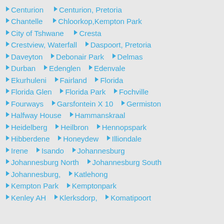Centurion   Centurion, Pretoria
Chantelle   Chloorkop, Kempton Park
City of Tshwane   Cresta
Crestview, Waterfall   Daspoort, Pretoria
Daveyton   Debonair Park   Delmas
Durban   Edenglen   Edenvale
Ekurhuleni   Fairland   Florida
Florida Glen   Florida Park   Fochville
Fourways   Garsfontein X 10   Germiston
Halfway House   Hammanskraal
Heidelberg   Heilbron   Hennopspark
Hibberdene   Honeydew   Illiondale
Irene   Isando   Johannesburg
Johannesburg North   Johannesburg South
Johannesburg,   Katlehong
Kempton Park   Kemptonpark
Kenley AH   Klerksdorp,   Komatipoort